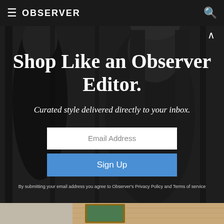OBSERVER
[Figure (photo): Dark background with two people in shadow, fashion editorial style]
Shop Like an Observer Editor.
Curated style delivered directly to your inbox.
Email Address
Sign Up
By submitting your email address you agree to Observer's Privacy Policy and Terms of service
[Figure (photo): Bottom strip showing what appears to be a framed artwork or product on a wooden surface]